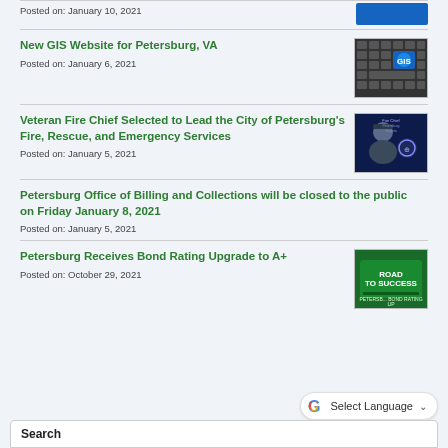Posted on: January 10, 2021
New GIS Website for Petersburg, VA
Posted on: January 6, 2021
Veteran Fire Chief Selected to Lead the City of Petersburg's Fire, Rescue, and Emergency Services
Posted on: January 5, 2021
Petersburg Office of Billing and Collections will be closed to the public on Friday January 8, 2021
Posted on: January 5, 2021
Petersburg Receives Bond Rating Upgrade to A+
Posted on: October 29, 2021
Search